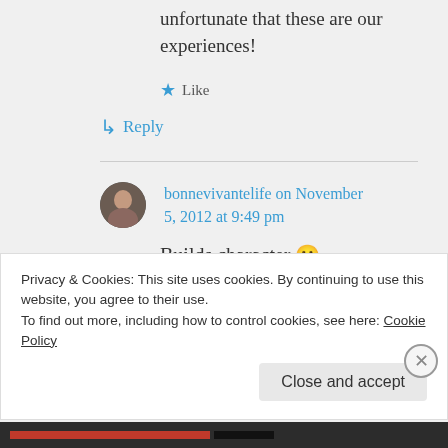unfortunate that these are our experiences!
Like
Reply
bonnevivantelife on November 5, 2012 at 9:49 pm
Builds character 🙂
Like
Privacy & Cookies: This site uses cookies. By continuing to use this website, you agree to their use. To find out more, including how to control cookies, see here: Cookie Policy
Close and accept